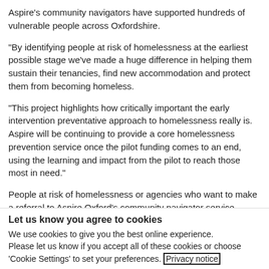Aspire's community navigators have supported hundreds of vulnerable people across Oxfordshire.
“By identifying people at risk of homelessness at the earliest possible stage we’ve made a huge difference in helping them sustain their tenancies, find new accommodation and protect them from becoming homeless.
“This project highlights how critically important the early intervention preventative approach to homelessness really is. Aspire will be continuing to provide a core homelessness prevention service once the pilot funding comes to an end, using the learning and impact from the pilot to reach those most in need.”
People at risk of homelessness or agencies who want to make a referral to Aspire Oxford’s community navigator service should contact 01865 204450 or email trailblazer@aspireoxford.co.uk
Let us know you agree to cookies
We use cookies to give you the best online experience. Please let us know if you accept all of these cookies or choose ‘Cookie Settings’ to set your preferences. Privacy notice